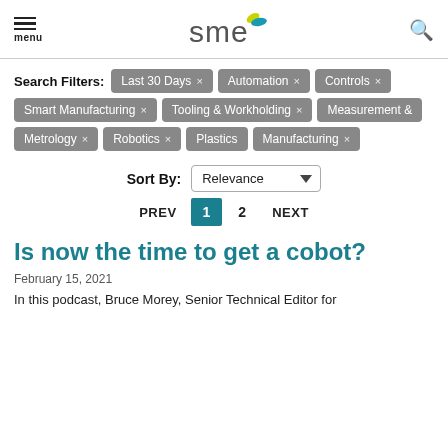menu | SME logo | search
Search Filters: Last 30 Days × Automation × Controls × Smart Manufacturing × Tooling & Workholding × Measurement & Metrology × Robotics × Plastics Manufacturing ×
Sort By: Relevance
PREV 1 2 NEXT
Is now the time to get a cobot?
February 15, 2021
In this podcast, Bruce Morey, Senior Technical Editor for